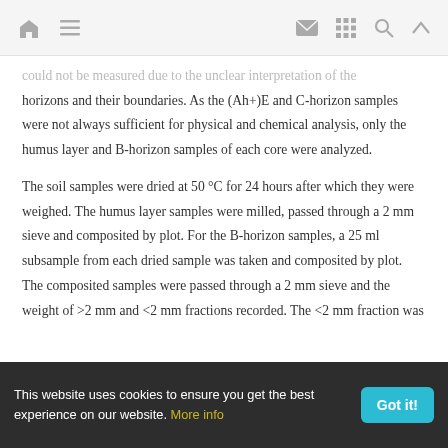[navigation bar with home, menu, mail, grid, search, up icons]
could not be measured due to the unclear interpretation of the horizons and their boundaries. As the (Ah+)E and C-horizon samples were not always sufficient for physical and chemical analysis, only the humus layer and B-horizon samples of each core were analyzed.
The soil samples were dried at 50 °C for 24 hours after which they were weighed. The humus layer samples were milled, passed through a 2 mm sieve and composited by plot. For the B-horizon samples, a 25 ml subsample from each dried sample was taken and composited by plot. The composited samples were passed through a 2 mm sieve and the weight of >2 mm and <2 mm fractions recorded. The <2 mm fraction was
This website uses cookies to ensure you get the best experience on our website. More info  Got it!